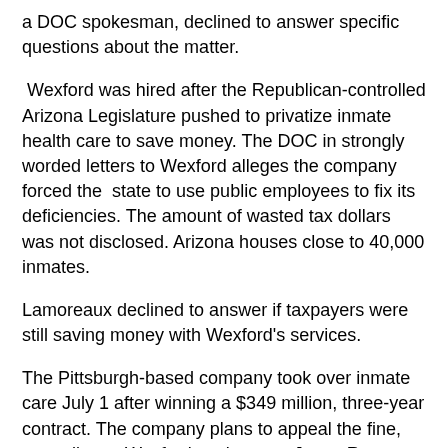a DOC spokesman, declined to answer specific questions about the matter.
Wexford was hired after the Republican-controlled Arizona Legislature pushed to privatize inmate health care to save money. The DOC in strongly worded letters to Wexford alleges the company forced the state to use public employees to fix its deficiencies. The amount of wasted tax dollars was not disclosed. Arizona houses close to 40,000 inmates.
Lamoreaux declined to answer if taxpayers were still saving money with Wexford's services.
The Pittsburgh-based company took over inmate care July 1 after winning a $349 million, three-year contract. The company plans to appeal the fine, according to Wexford spokesman Jason Rose. Wexford, in a letter to Ryan, contends the conditions of health care in the state prison system were poor and problems existed prior to privatization.